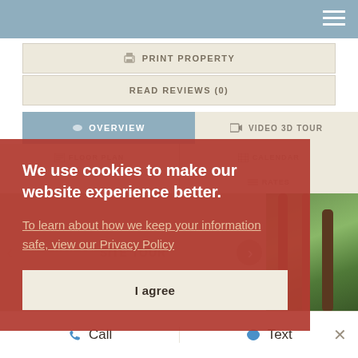[Figure (screenshot): Website UI screenshot showing a property listing page with navigation bar, print/review buttons, overview/video 3D tour tabs, and a forest photo strip]
PRINT PROPERTY
READ REVIEWS (0)
OVERVIEW
VIDEO 3D TOUR
We use cookies to make our website experience better.
To learn about how we keep your information safe, view our Privacy Policy
I agree
Call
Text